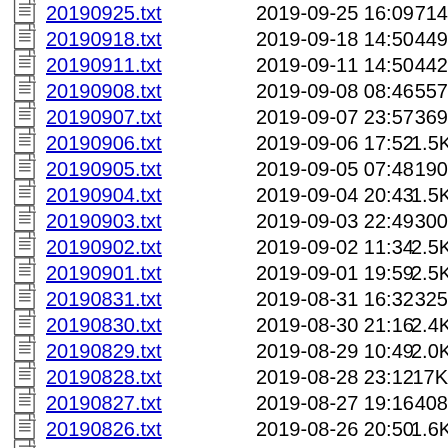| Icon | Filename | Date | Size |
| --- | --- | --- | --- |
| [file] | 20190925.txt | 2019-09-25 16:09 | 714 |
| [file] | 20190918.txt | 2019-09-18 14:50 | 449 |
| [file] | 20190911.txt | 2019-09-11 14:50 | 442 |
| [file] | 20190908.txt | 2019-09-08 08:46 | 557 |
| [file] | 20190907.txt | 2019-09-07 23:57 | 369 |
| [file] | 20190906.txt | 2019-09-06 17:52 | 1.5K |
| [file] | 20190905.txt | 2019-09-05 07:48 | 190 |
| [file] | 20190904.txt | 2019-09-04 20:43 | 1.5K |
| [file] | 20190903.txt | 2019-09-03 22:49 | 300 |
| [file] | 20190902.txt | 2019-09-02 11:34 | 2.5K |
| [file] | 20190901.txt | 2019-09-01 19:59 | 2.5K |
| [file] | 20190831.txt | 2019-08-31 16:32 | 325 |
| [file] | 20190830.txt | 2019-08-30 21:16 | 2.4K |
| [file] | 20190829.txt | 2019-08-29 10:49 | 2.0K |
| [file] | 20190828.txt | 2019-08-28 23:12 | 17K |
| [file] | 20190827.txt | 2019-08-27 19:16 | 408 |
| [file] | 20190826.txt | 2019-08-26 20:50 | 1.6K |
| [file] | 20190825.txt | 2019-08-25 19:19 | 1.6K |